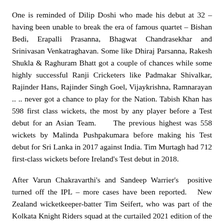One is reminded of Dilip Doshi who made his debut at 32 – having been unable to break the era of famous quartet – Bishan Bedi, Erapalli Prasanna, Bhagwat Chandrasekhar and Srinivasan Venkatraghavan. Some like Dhiraj Parsanna, Rakesh Shukla & Raghuram Bhatt got a couple of chances while some highly successful Ranji Cricketers like Padmakar Shivalkar, Rajinder Hans, Rajinder Singh Goel, Vijaykrishna, Ramnarayan .. .. never got a chance to play for the Nation. Tabish Khan has 598 first class wickets, the most by any player before a Test debut for an Asian Team. The previous highest was 558 wickets by Malinda Pushpakumara before making his Test debut for Sri Lanka in 2017 against India. Tim Murtagh had 712 first-class wickets before Ireland's Test debut in 2018.
After Varun Chakravarthi's and Sandeep Warrier's positive turned off the IPL – more cases have been reported. New Zealand wicketkeeper-batter Tim Seifert, who was part of the Kolkata Knight Riders squad at the curtailed 2021 edition of the IPL, has tested positive for Covid-19. As a result, he will not be on the charter flight with other members of the New Zealand contingent at the IPL. Instead, he will stay in isolation in Ahmedabad as he awaits transfer to Chennai where he will be tested prior to joining the hospital. Seifert